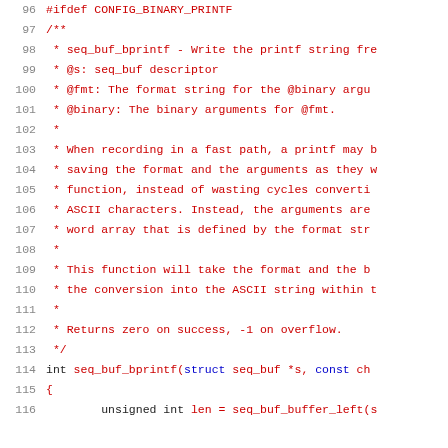Source code listing showing seq_buf_bprintf function documentation, lines 96-116
96: #ifdef CONFIG_BINARY_PRINTF
97: /**
98:  * seq_buf_bprintf - Write the printf string fre...
99:  * @s: seq_buf descriptor
100:  * @fmt: The format string for the @binary argu...
101:  * @binary: The binary arguments for @fmt.
102:  *
103:  * When recording in a fast path, a printf may b...
104:  * saving the format and the arguments as they ...
105:  * function, instead of wasting cycles converti...
106:  * ASCII characters. Instead, the arguments are...
107:  * word array that is defined by the format str...
108:  *
109:  * This function will take the format and the b...
110:  * the conversion into the ASCII string within ...
111:  *
112:  * Returns zero on success, -1 on overflow.
113:  */
114: int seq_buf_bprintf(struct seq_buf *s, const ch...
115: {
116:         unsigned int len = seq_buf_buffer_left(s...